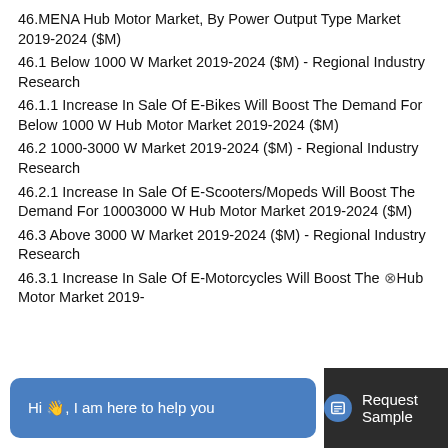46.MENA Hub Motor Market, By Power Output Type Market 2019-2024 ($M)
46.1 Below 1000 W Market 2019-2024 ($M) - Regional Industry Research
46.1.1 Increase In Sale Of E-Bikes Will Boost The Demand For Below 1000 W Hub Motor Market 2019-2024 ($M)
46.2 1000-3000 W Market 2019-2024 ($M) - Regional Industry Research
46.2.1 Increase In Sale Of E-Scooters/Mopeds Will Boost The Demand For 10003000 W Hub Motor Market 2019-2024 ($M)
46.3 Above 3000 W Market 2019-2024 ($M) - Regional Industry Research
46.3.1 Increase In Sale Of E-Motorcycles Will Boost The Demand For ...Hub Motor Market 2019-